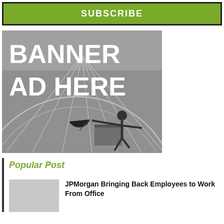[Figure (other): Subscribe button/box with dark border and olive green background reading SUBSCRIBE in white bold uppercase letters]
[Figure (illustration): Banner ad placeholder showing a person in black outfit holding an umbrella being blown by wind, standing on a platform in front of a large arc/wheel structure. Text overlay reads BANNER AD HERE in large white bold letters.]
Popular Post
JPMorgan Bringing Back Employees to Work From Office